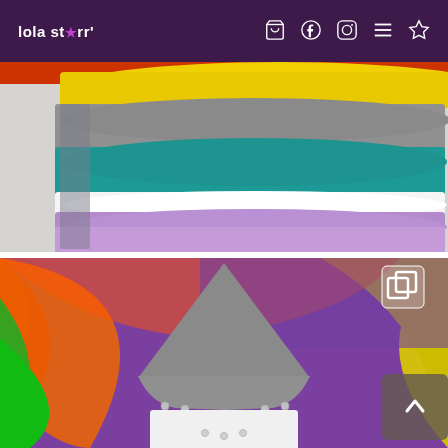lola starr — navigation header with cart, facebook, instagram, menu, wishlist icons
[Figure (photo): Stack of colorful folded fabric pieces including yellow, grey, teal, white, and purple/lavender layers on a light background]
[Figure (photo): Grey baby hood/hat garment with snaps on a vivid rainbow swirl background (red, orange, green, yellow, purple), white onesie visible below; gallery icon overlay in top right]